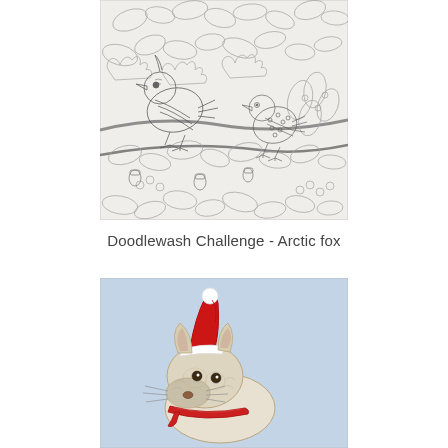[Figure (illustration): Pencil line drawing of two birds perched on branches surrounded by oak leaves and berries, with intricate zentangle-style patterns.]
Doodlewash Challenge - Arctic fox
[Figure (illustration): Watercolor illustration of an arctic fox wearing a red Santa hat and red scarf, on a light blue background.]